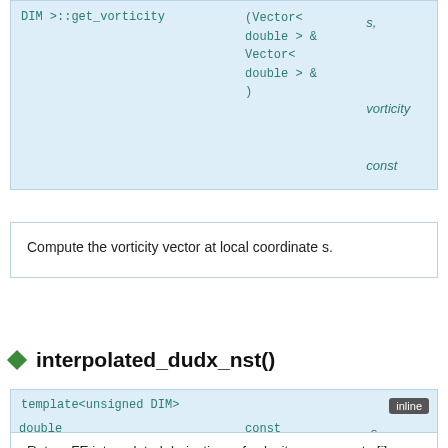| Function | Params | Param names |
| --- | --- | --- |
| DIM >::get_vorticity | (Vector< double > & Vector< double > &) | s, vorticity const |
Compute the vorticity vector at local coordinate s.
interpolated_dudx_nst()
| Template | Inline |
| --- | --- |
| template<unsigned DIM> | inline |
| double oomph::NavierStokesEquations< DIM >::interpolated_dudx_nst | const (Vector< double > & const unsigned & const unsigned & ) | s, i, j const |
Return FE interpolated derivatives of velocity component u[i]